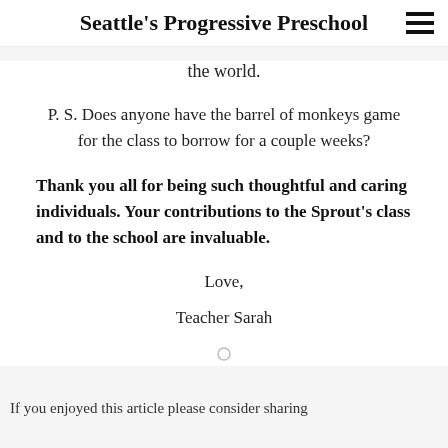Seattle's Progressive Preschool
the world.
P. S. Does anyone have the barrel of monkeys game for the class to borrow for a couple weeks?
Thank you all for being such thoughtful and caring individuals. Your contributions to the Sprout's class and to the school are invaluable.
Love,
Teacher Sarah
If you enjoyed this article please consider sharing